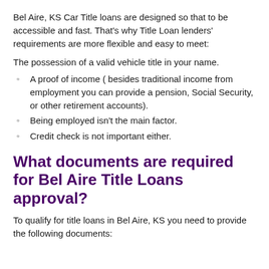Bel Aire, KS Car Title loans are designed so that to be accessible and fast. That's why Title Loan lenders' requirements are more flexible and easy to meet:
The possession of a valid vehicle title in your name.
A proof of income ( besides traditional income from employment you can provide a pension, Social Security, or other retirement accounts).
Being employed isn't the main factor.
Credit check is not important either.
What documents are required for Bel Aire Title Loans approval?
To qualify for title loans in Bel Aire, KS you need to provide the following documents: